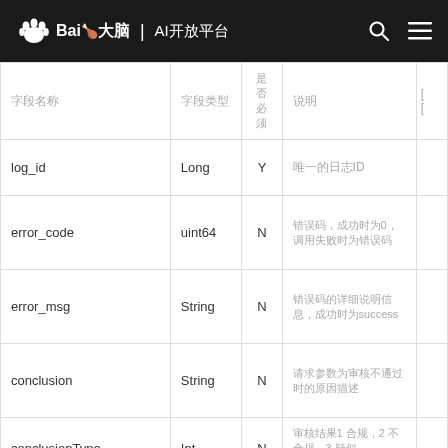Baidu 大脑 | AI开放平台
| 字段名称 | 字段类型 | 是否必须 | 说明 |  |
| --- | --- | --- | --- | --- |
| 字段名称 | 字段类型 | 是否
必须
（Y/N） | 说明 | [... |
| log_id | Long | Y | 唯一的日志ID |  |
| error_code | uint64 | N | 错误码，成功时为0，调用失败时为错误码 |  |
| error_msg | String | N | 错误码的详细说明信息，成功时为success |  |
| conclusion | String | N | 请求参数为审核不通过时的原因描述 |  |
| conclusionType | Int | N | 审核结果1 合规，2 不合规，3 疑似... |